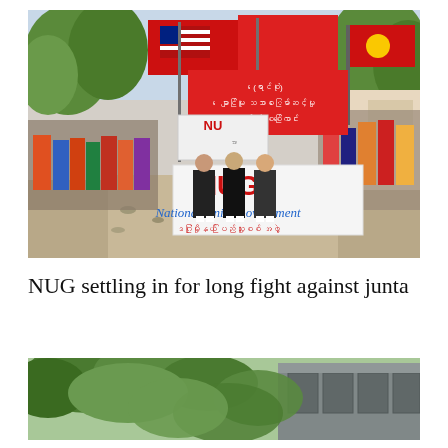[Figure (photo): Protest march with people carrying red NUG (National Unity Government) banners and flags including Myanmar flags and a US flag, along a dirt road lined with trees and onlookers wearing masks.]
NUG settling in for long fight against junta
[Figure (photo): Exterior view of a building partially obscured by green trees and foliage, with a corrugated metal roof visible.]